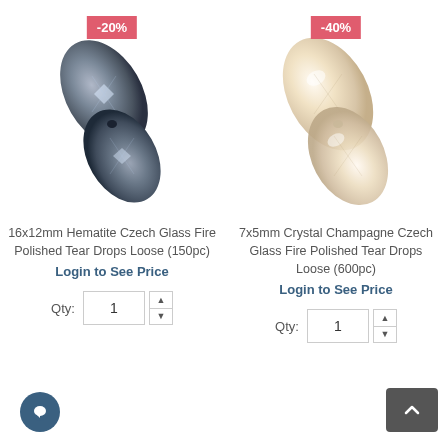[Figure (photo): Two dark metallic hematite Czech glass fire polished tear drop beads, shown close up on white background, with a -20% sale badge]
16x12mm Hematite Czech Glass Fire Polished Tear Drops Loose (150pc)
Login to See Price
[Figure (photo): Two crystal champagne Czech glass fire polished tear drop beads, shown close up on white background, with a -40% sale badge]
7x5mm Crystal Champagne Czech Glass Fire Polished Tear Drops Loose (600pc)
Login to See Price